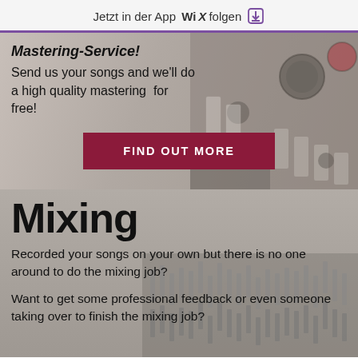Jetzt in der App WiX folgen
[Figure (screenshot): Mastering service advertisement banner with audio mixer background. Contains bold italic title 'Mastering-Service!', text 'Send us your songs and we'll do a high quality mastering for free!', and a dark red button labeled 'FIND OUT MORE'.]
[Figure (screenshot): Mixing service section with audio mixing console background. Contains large bold title 'Mixing', and two paragraphs: 'Recorded your songs on your own but there is no one around to do the mixing job?' and 'Want to get some professional feedback or even someone taking over to finish the mixing job?']